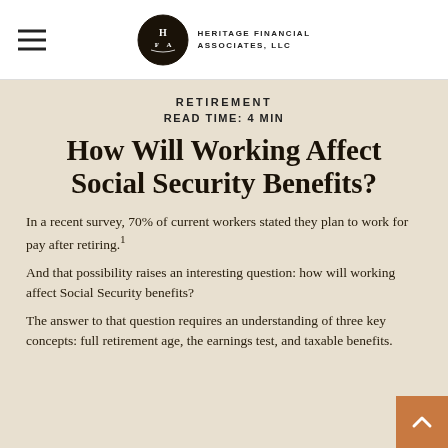Heritage Financial Associates, LLC
RETIREMENT
READ TIME: 4 MIN
How Will Working Affect Social Security Benefits?
In a recent survey, 70% of current workers stated they plan to work for pay after retiring.¹
And that possibility raises an interesting question: how will working affect Social Security benefits?
The answer to that question requires an understanding of three key concepts: full retirement age, the earnings test, and taxable benefits.